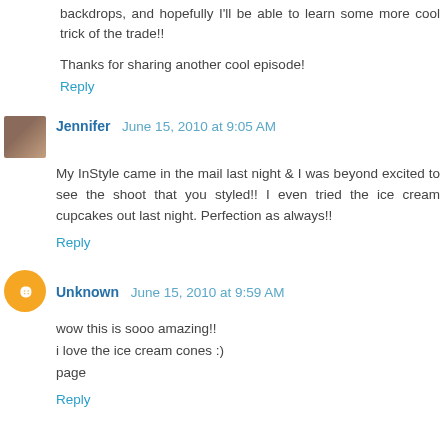backdrops, and hopefully I'll be able to learn some more cool trick of the trade!!
Thanks for sharing another cool episode!
Reply
Jennifer  June 15, 2010 at 9:05 AM
My InStyle came in the mail last night & I was beyond excited to see the shoot that you styled!! I even tried the ice cream cupcakes out last night. Perfection as always!!
Reply
Unknown  June 15, 2010 at 9:59 AM
wow this is sooo amazing!!
i love the ice cream cones :)
page
Reply